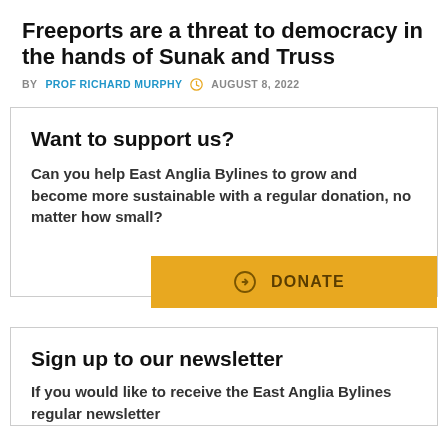Freeports are a threat to democracy in the hands of Sunak and Truss
BY PROF RICHARD MURPHY  AUGUST 8, 2022
Want to support us?
Can you help East Anglia Bylines to grow and become more sustainable with a regular donation, no matter how small?
DONATE
Sign up to our newsletter
If you would like to receive the East Anglia Bylines regular newsletter